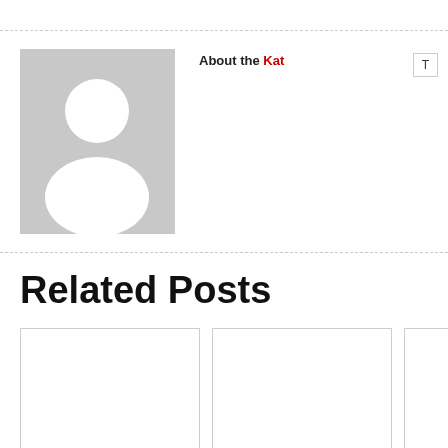[Figure (illustration): Author avatar placeholder with grey background and white silhouette of a person]
About the Kat
Related Posts
[Figure (photo): Blank/empty image placeholder for Butterfly Dress Complete post]
Butterfly Dress Complete
[Figure (photo): Blank/empty image placeholder for Project Project Runway Season 13 Finale Runway post]
Project Project Runway Season 13 Finale Runway
[Figure (photo): Blank/empty image placeholder for Project Project Runway Season 13 Finale – House of Osei-Bonsu post]
Project Project Runway Season 13 Finale – House of Osei-Bonsu